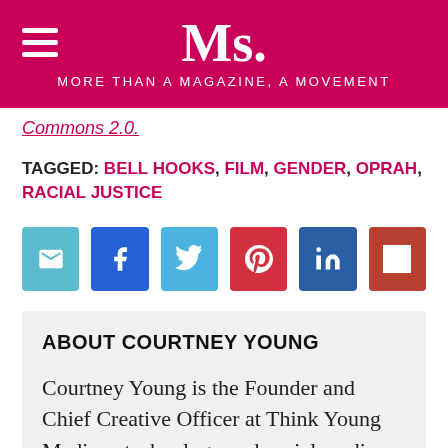Ms. — MORE THAN A MAGAZINE, A MOVEMENT
Commons 2.0.
TAGGED: BELL HOOKS, FILM, GENDER, OPRAH, RACIAL JUSTICE
[Figure (other): Social share buttons: email, Facebook, Twitter, Pinterest, LinkedIn, Flipboard]
ABOUT COURTNEY YOUNG
Courtney Young is the Founder and Chief Creative Officer at Think Young Media, a technology and social media firm located in New York that specializes in social media